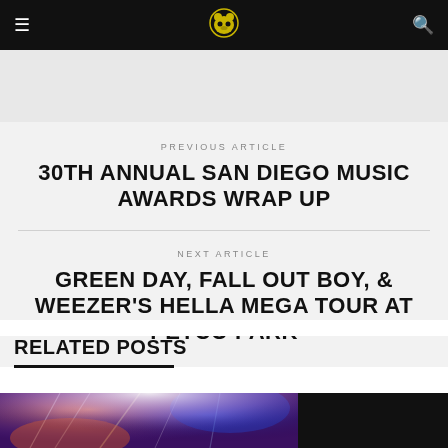Navigation bar with hamburger menu, panda logo, and search icon
PREVIOUS ARTICLE
30TH ANNUAL SAN DIEGO MUSIC AWARDS WRAP UP
NEXT ARTICLE
GREEN DAY, FALL OUT BOY, & WEEZER'S HELLA MEGA TOUR AT PETCO PARK
RELATED POSTS
[Figure (photo): Concert photo with colorful stage lighting in purple, orange and red hues on the left; dark/black panel on the right]